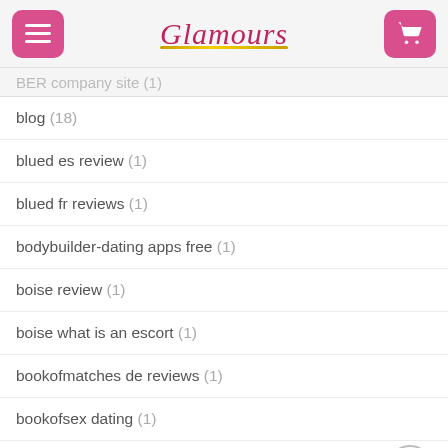Glamours
BER company site (1)
blog (18)
blued es review (1)
blued fr reviews (1)
bodybuilder-dating apps free (1)
boise review (1)
boise what is an escort (1)
bookofmatches de reviews (1)
bookofsex dating (1)
Bookofsex seite (1)